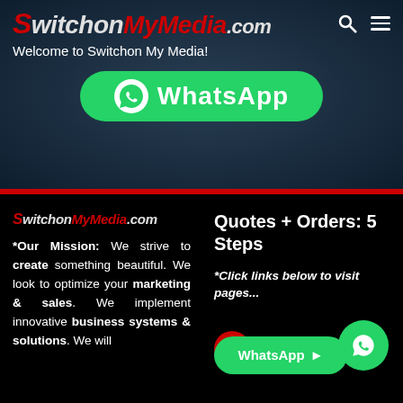[Figure (logo): SwitchonMyMedia.com logo in italic bold font with red and white coloring]
Welcome to Switchon My Media!
[Figure (other): WhatsApp green button with WhatsApp logo and text]
[Figure (logo): SwitchonMyMedia.com small logo in italic bold font]
*Our Mission: We strive to create something beautiful. We look to optimize your marketing & sales. We implement innovative business systems & solutions. We will
Quotes + Orders: 5 Steps
*Click links below to visit pages...
[Figure (other): WhatsApp green rounded button with arrow and WhatsApp circle icon, plus a Sign-in button]
Open your